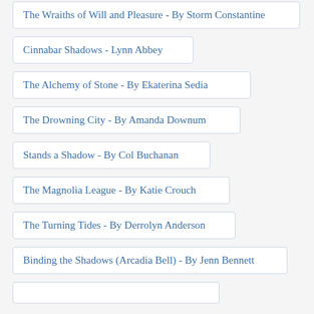The Wraiths of Will and Pleasure - By Storm Constantine
Cinnabar Shadows - Lynn Abbey
The Alchemy of Stone - By Ekaterina Sedia
The Drowning City - By Amanda Downum
Stands a Shadow - By Col Buchanan
The Magnolia League - By Katie Crouch
The Turning Tides - By Derrolyn Anderson
Binding the Shadows (Arcadia Bell) - By Jenn Bennett
...